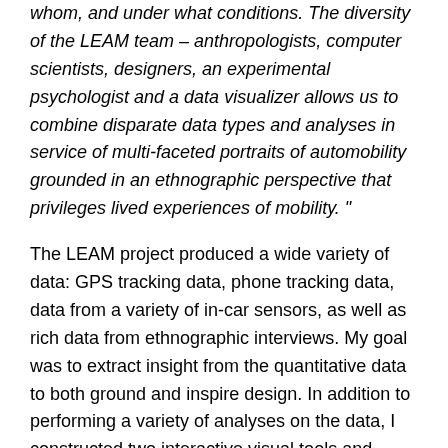whom, and under what conditions. The diversity of the LEAM team – anthropologists, computer scientists, designers, an experimental psychologist and a data visualizer allows us to combine disparate data types and analyses in service of multi-faceted portraits of automobility grounded in an ethnographic perspective that privileges lived experiences of mobility. "
The LEAM project produced a wide variety of data: GPS tracking data, phone tracking data, data from a variety of in-car sensors, as well as rich data from ethnographic interviews. My goal was to extract insight from the quantitative data to both ground and inspire design. In addition to performing a variety of analyses on the data, I constructed two interactive visual tools and variety of static visualizations to illustrate a data model I developed to encapsulate the concept of how familiar a driver is with a